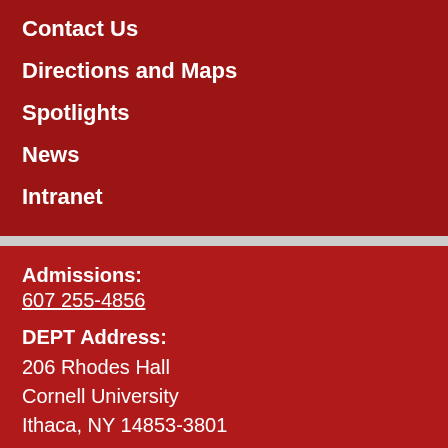Contact Us
Directions and Maps
Spotlights
News
Intranet
Admissions: 607 255-4856
DEPT Address: 206 Rhodes Hall Cornell University Ithaca, NY 14853-3801